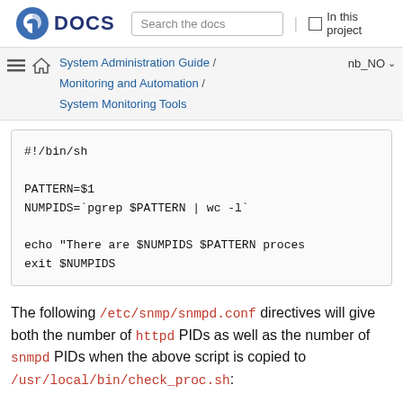Fedora DOCS | Search the docs | In this project
System Administration Guide / Monitoring and Automation / System Monitoring Tools | nb_NO
#!/bin/sh

PATTERN=$1
NUMPIDS=`pgrep $PATTERN | wc -l`

echo "There are $NUMPIDS $PATTERN proces
exit $NUMPIDS
The following /etc/snmp/snmpd.conf directives will give both the number of httpd PIDs as well as the number of snmpd PIDs when the above script is copied to /usr/local/bin/check_proc.sh: